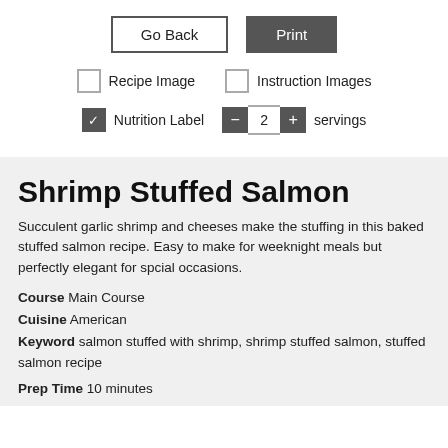[Figure (screenshot): UI controls: Go Back button, Print button, Recipe Image checkbox (unchecked), Instruction Images checkbox (unchecked), Nutrition Label checkbox (checked), servings stepper showing 2]
Shrimp Stuffed Salmon
Succulent garlic shrimp and cheeses make the stuffing in this baked stuffed salmon recipe. Easy to make for weeknight meals but perfectly elegant for spcial occasions.
Course  Main Course
Cuisine  American
Keyword  salmon stuffed with shrimp, shrimp stuffed salmon, stuffed salmon recipe
Prep Time  10 minutes